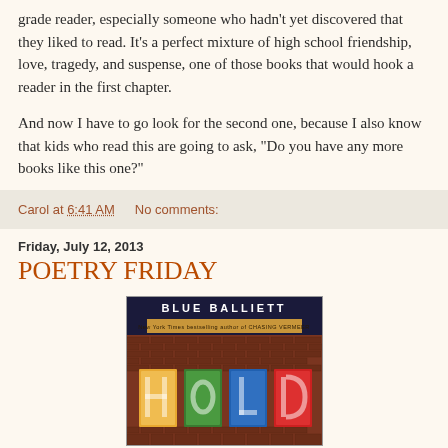grade reader, especially someone who hadn't yet discovered that they liked to read. It's a perfect mixture of high school friendship, love, tragedy, and suspense, one of those books that would hook a reader in the first chapter.
And now I have to go look for the second one, because I also know that kids who read this are going to ask, "Do you have any more books like this one?"
Carol at 6:41 AM    No comments:
Friday, July 12, 2013
POETRY FRIDAY
[Figure (photo): Book cover of 'Hold' by Blue Balliett, showing the title letters H O L D in colorful window panes on a brick building facade. Text reads 'BLUE BALLIETT' and 'New York Times bestselling author of CHASING VERMEER'.]